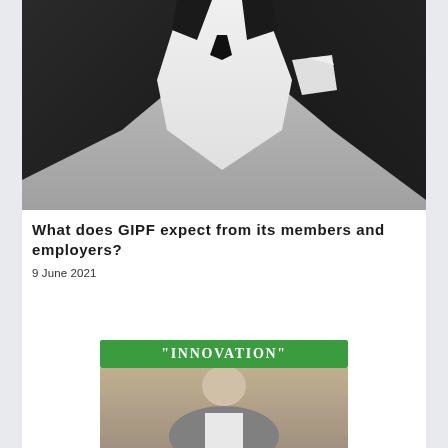[Figure (photo): Black and white photo of a person in a dark suit with white shirt and pocket square, cropped at the torso/chest level]
What does GIPF expect from its members and employers?
9 June 2021
[Figure (photo): A card with a green banner reading 'INNOVATION' at the top and below it a photo of a person]